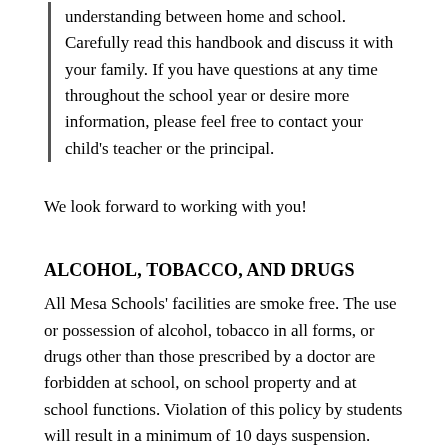understanding between home and school. Carefully read this handbook and discuss it with your family. If you have questions at any time throughout the school year or desire more information, please feel free to contact your child's teacher or the principal.
We look forward to working with you!
ALCOHOL, TOBACCO, AND DRUGS
All Mesa Schools' facilities are smoke free. The use or possession of alcohol, tobacco in all forms, or drugs other than those prescribed by a doctor are forbidden at school, on school property and at school functions. Violation of this policy by students will result in a minimum of 10 days suspension. Possession of alcohol and/or of a controlled substance will be reported to the local law authorities.